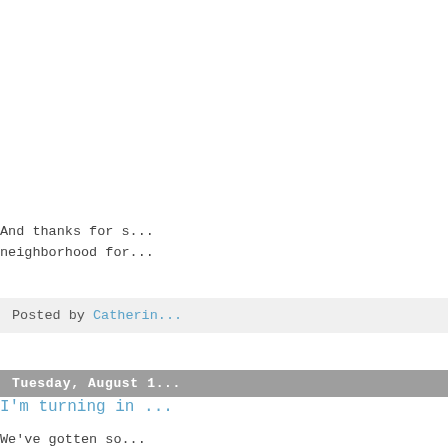And thanks for s... neighborhood for...
Posted by Catherin...
Tuesday, August 1...
I'm turning in ...
We've gotten so... AWFUL!! Kinda de...